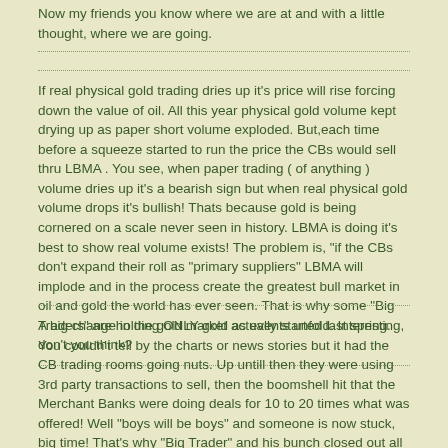Now my friends you know where we are at and with a little thought, where we are going.
If real physical gold trading dries up it's price will rise forcing down the value of oil. All this year physical gold volume kept drying up as paper short volume exploded. But,each time before a squeeze started to run the price the CBs would sell thru LBMA . You see, when paper trading ( of anything ) volume dries up it's a bearish sign but when real physical gold volume drops it's bullish! Thats because gold is being cornered on a scale never seen in history. LBMA is doing it's best to show real volume exists! The problem is, "if the CBs don't expand their roll as "primary suppliers" LBMA will implode and in the process create the greatest bull market in oil and gold the world has ever seen. That is why some "Big Traders" are holding ONLY gold as events unfold. Interesting, don't you think?
A big change in the gold market actually started last spring. You couldn't tell by the charts or news stories but it had the CB trading rooms going nuts. Up untill then they were using 3rd party transactions to sell, then the boomshell hit that the Merchant Banks were doing deals for 10 to 20 times what was offered! Well "boys will be boys" and someone is now stuck, big time! That's why "Big Trader" and his bunch closed out all paper and pulled in bullion. Don't worry about the CBs selling everything, the market is huge